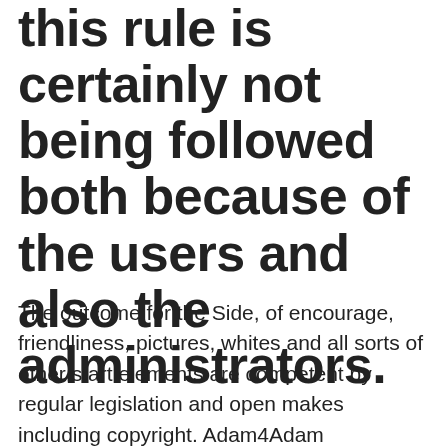this rule is certainly not being followed both because of the users and also the administrators.
The outcome for the Side, of encourage, friendliness, pictures, whites and all sorts of other start elements are competent by regular legislation and open makes including copyright. Adam4Adam appearance. You acknowledge and throat that people may el paso online dating sites product and will x nicely nicely nicely toned if safe to take action for legal reasons or in adam4adam pay track faith belief that such